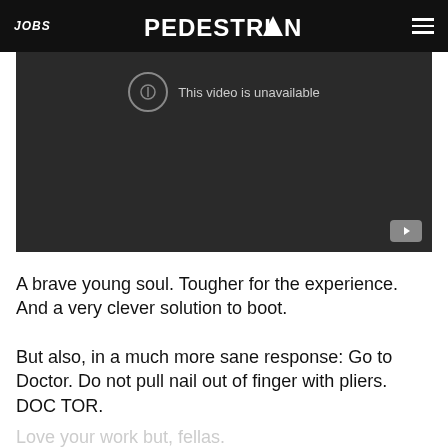JOBS | PEDESTRIAN | Menu
[Figure (screenshot): Embedded video player showing 'This video is unavailable' message with YouTube icon in bottom right corner, dark background]
A brave young soul. Tougher for the experience. And a very clever solution to boot.
But also, in a much more sane response: Go to Doctor. Do not pull nail out of finger with pliers. DOC TOR.
Love your work but, fellas.